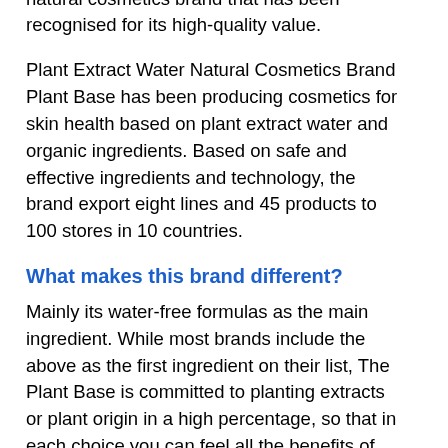enter the world's third-largest cosmetic distribution brand. Plant Base is Korea's natural cosmetics brand that has been recognised for its high-quality value.
Plant Extract Water Natural Cosmetics Brand Plant Base has been producing cosmetics for skin health based on plant extract water and organic ingredients. Based on safe and effective ingredients and technology, the brand export eight lines and 45 products to 100 stores in 10 countries.
What makes this brand different?
Mainly its water-free formulas as the main ingredient. While most brands include the above as the first ingredient on their list, The Plant Base is committed to planting extracts or plant origin in a high percentage, so that in each choice you can feel all the benefits of nature in your skin.